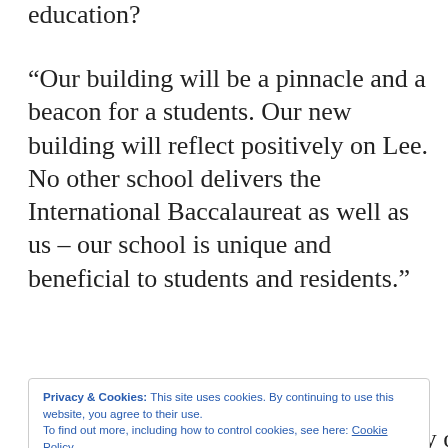education?
“Our building will be a pinnacle and a beacon for a students. Our new building will reflect positively on Lee. No other school delivers the International Baccalaureat as well as us – our school is unique and beneficial to students and residents.”
Privacy & Cookies: This site uses cookies. By continuing to use this website, you agree to their use.
To find out more, including how to control cookies, see here: Cookie Policy
Close and accept
Neighbours concerned with road safety objected